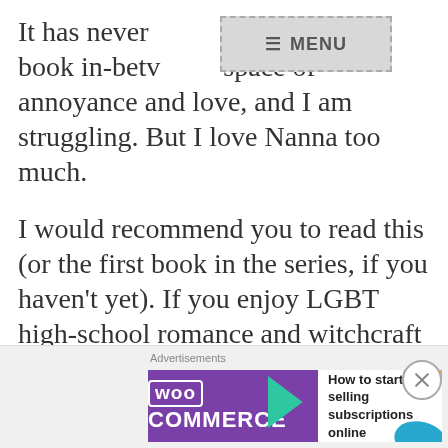It has never [MENU] er to judge a book in-betw[een the] space of annoyance and love, and I am struggling. But I love Nanna too much.
I would recommend you to read this (or the first book in the series, if you haven't yet). If you enjoy LGBT high-school romance and witchcraft adventures, this one will be a pleasurable read for you.
[Figure (screenshot): WooCommerce advertisement banner: 'How to start selling subscriptions online']